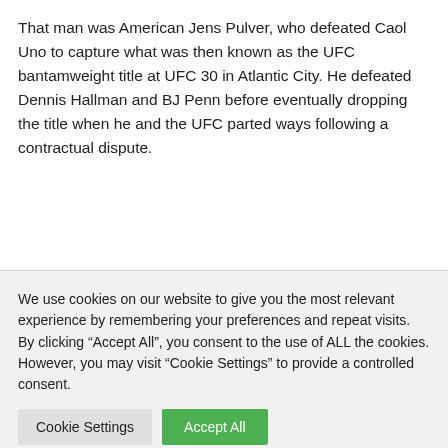That man was American Jens Pulver, who defeated Caol Uno to capture what was then known as the UFC bantamweight title at UFC 30 in Atlantic City. He defeated Dennis Hallman and BJ Penn before eventually dropping the title when he and the UFC parted ways following a contractual dispute.
We use cookies on our website to give you the most relevant experience by remembering your preferences and repeat visits. By clicking “Accept All”, you consent to the use of ALL the cookies. However, you may visit "Cookie Settings" to provide a controlled consent.